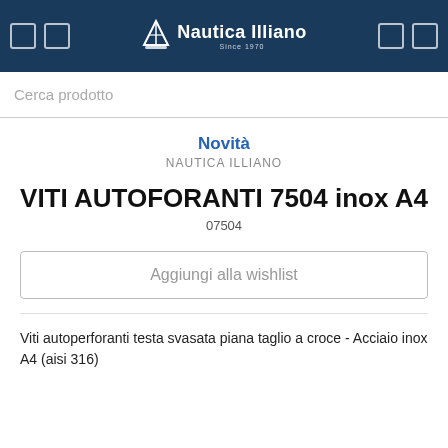Nautica Illiano
Cerca prodotto
Novità
NAUTICA ILLIANO
VITI AUTOFORANTI 7504 inox A4
07504
Aggiungi alla wishlist
Viti autoperforanti testa svasata piana taglio a croce - Acciaio inox A4 (aisi 316)